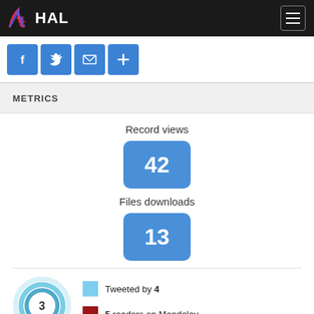HAL
[Figure (infographic): Social sharing buttons: Facebook, Twitter, Email, More (+)]
METRICS
Record views
[Figure (infographic): Blue rounded rectangle badge showing number 42]
Files downloads
[Figure (infographic): Blue rounded rectangle badge showing number 13]
[Figure (infographic): Altmetric donut chart showing score 3, with legend: Tweeted by 4, 5 readers on Mendeley]
Tweeted by 4
5 readers on Mendeley
See more details